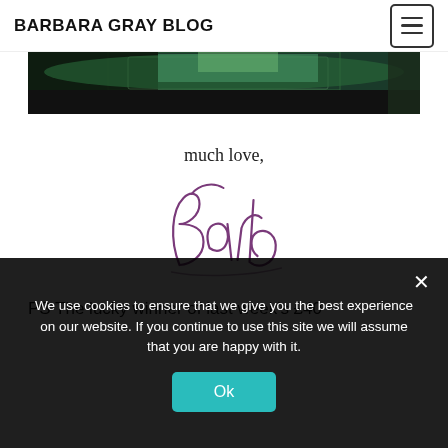BARBARA GRAY BLOG
[Figure (photo): Partial landscape photo strip showing green foliage and dark background at top of page]
much love,
[Figure (illustration): Cursive handwritten signature reading 'Barb' in purple/violet ink]
PS The lucky winner of last week's £40
We use cookies to ensure that we give you the best experience on our website. If you continue to use this site we will assume that you are happy with it.